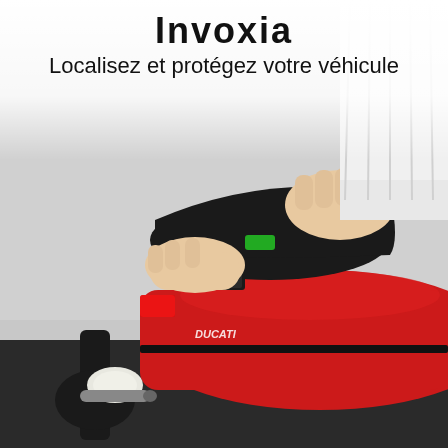Invoxia
Localisez et protégez votre véhicule
[Figure (photo): Hands installing a small black GPS tracker device under the rear seat/fairing of a red Ducati motorcycle. The tracker is a small rectangular black device being placed near the motorcycle mechanics. The Ducati logo is visible in white script on the red body panel.]